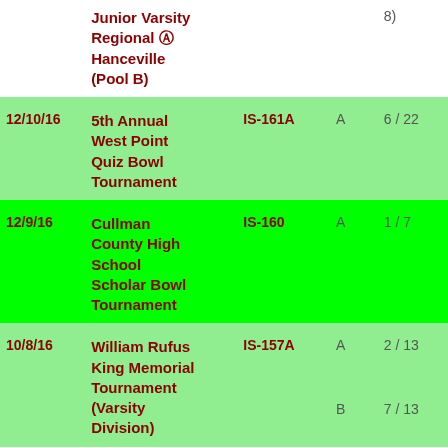| Date | Event | Code | Division | Place |
| --- | --- | --- | --- | --- |
|  | Junior Varsity Regional @ Hanceville (Pool B) |  |  | 8) |
| 12/10/16 | 5th Annual West Point Quiz Bowl Tournament | IS-161A | A | 6 / 22 |
| 12/9/16 | Cullman County High School Scholar Bowl Tournament | IS-160 | A | 1 / 7 |
| 10/8/16 | William Rufus King Memorial Tournament (Varsity Division) | IS-157A | A
B | 2 / 13
7 / 13 |